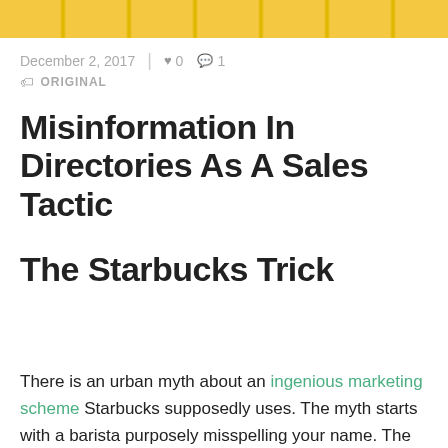[Figure (photo): Top strip showing yellow/gold rounded objects arranged in a grid, cropped at the top of the page.]
December 2, 2017  |  ♥ 0  💬 1
🏷 ORIGINAL
Misinformation In Directories As A Sales Tactic
The Starbucks Trick
There is an urban myth about an ingenious marketing scheme Starbucks supposedly uses. The myth starts with a barista purposely misspelling your name. The idea behind